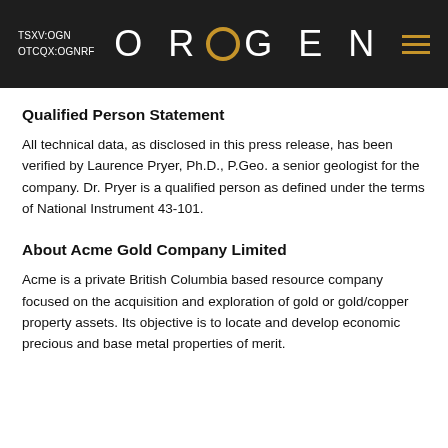TSXV:OGN OTCQX:OGNRF OROGEN
Qualified Person Statement
All technical data, as disclosed in this press release, has been verified by Laurence Pryer, Ph.D., P.Geo. a senior geologist for the company. Dr. Pryer is a qualified person as defined under the terms of National Instrument 43-101.
About Acme Gold Company Limited
Acme is a private British Columbia based resource company focused on the acquisition and exploration of gold or gold/copper property assets. Its objective is to locate and develop economic precious and base metal properties of merit.